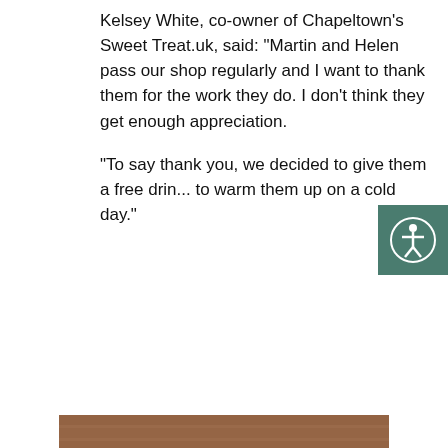Kelsey White, co-owner of Chapeltown's Sweet Treat.uk, said: “Martin and Helen pass our shop regularly and I want to thank them for the work they do. I don't think they get enough appreciation.

“To say thank you, we decided to give them a free drin... to warm them up on a cold day.”
[Figure (photo): Exterior of SweetTreat.uk shop in Chapeltown with pink cursive logo on dark signage above large windows. Two people wearing hi-visibility yellow vests stand in front of the shop.]